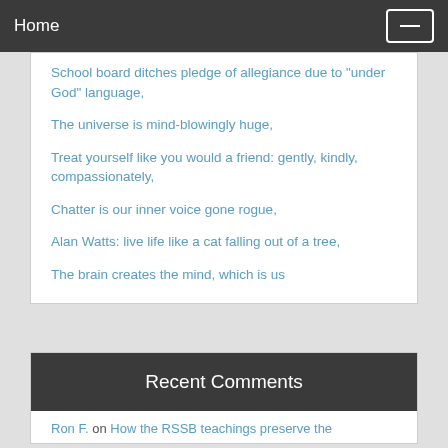Home
School board ditches pledge of allegiance due to "under God" language,
The universe is mind-blowingly huge,
Treat yourself like you would a friend: gently, kindly, compassionately,
Chatter is our inner voice gone rogue,
Alan Watts: live life like a cat falling out of a tree,
The brain creates the mind, which is us
Recent Comments
Ron F. on How the RSSB teachings preserve the